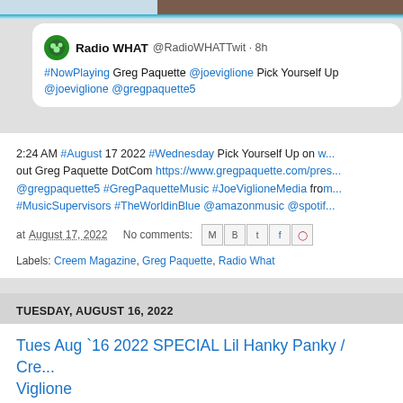[Figure (screenshot): Top portion of a blog page showing a Twitter/social media post card with Radio WHAT tweet about NowPlaying Greg Paquette]
#NowPlaying Greg Paquette @joeviglione Pick Yourself Up @joeviglione @gregpaquette5
2:24 AM #August 17 2022 #Wednesday Pick Yourself Up on w... out Greg Paquette DotCom https://www.gregpaquette.com/pres... @gregpaquette5 #GregPaquetteMusic #JoeViglioneMedia from... #MusicSupervisors #TheWorldinBlue @amazonmusic @spotif...
at August 17, 2022   No comments:
Labels: Creem Magazine, Greg Paquette, Radio What
TUESDAY, AUGUST 16, 2022
Tues Aug `16 2022 SPECIAL Lil Hanky Panky / Cre... Viglione